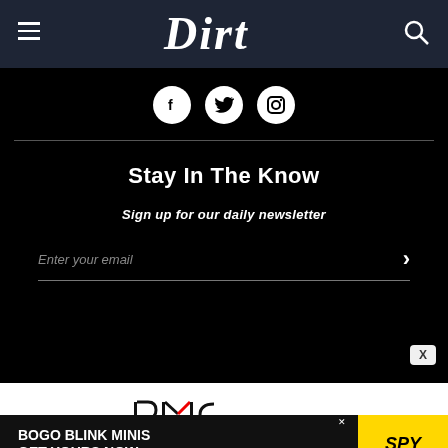Dirt
[Figure (logo): Dirt website logo in white italic script on dark navy header bar]
[Figure (infographic): Social media icons: Facebook, Twitter, Instagram in white circles on black background]
Stay In The Know
Sign up for our daily newsletter
Enter your email
[Figure (logo): PMC logo in black on white background]
[Figure (infographic): Advertisement banner: BOGO BLINK MINIS GET YOURS NOW with SPY logo on yellow background]